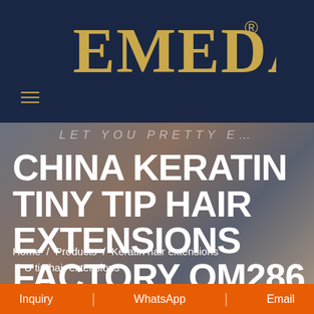[Figure (logo): EMEDA brand logo in gold/yellow lettering on dark navy blue background with registered trademark symbol]
CHINA KERATIN TINY TIP HAIR EXTENSIONS FACTORY QM286
LET YOU PRETTY E
Home / Products / Keratin hair extensions / U tip hair extensions
Inquiry | WhatsApp | Email